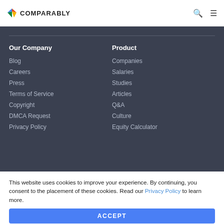COMPARABLY
Our Company
Blog
Careers
Press
Terms of Service
Copyright
DMCA Request
Privacy Policy
Product
Companies
Salaries
Studies
Articles
Q&A
Culture
Equity Calculator
This website uses cookies to improve your experience. By continuing, you consent to the placement of these cookies. Read our Privacy Policy to learn more.
ACCEPT